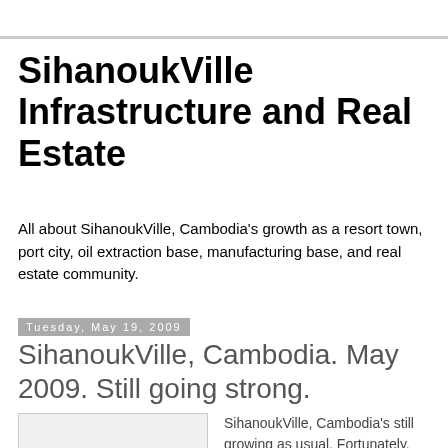SihanoukVille Infrastructure and Real Estate
All about SihanoukVille, Cambodia's growth as a resort town, port city, oil extraction base, manufacturing base, and real estate community.
Tuesday, May 19, 2009
SihanoukVille, Cambodia. May 2009. Still going strong.
SihanoukVille, Cambodia's still growing as usual. Fortunately, the pace of growth has